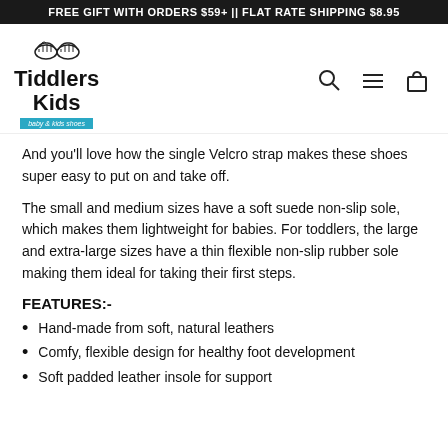FREE GIFT WITH ORDERS $59+ || FLAT RATE SHIPPING $8.95
[Figure (logo): Tiddlers Kids logo with shoe illustration and tagline 'baby & kids shoes']
And you'll love how the single Velcro strap makes these shoes super easy to put on and take off.
The small and medium sizes have a soft suede non-slip sole, which makes them lightweight for babies. For toddlers, the large and extra-large sizes have a thin flexible non-slip rubber sole making them ideal for taking their first steps.
FEATURES:-
Hand-made from soft, natural leathers
Comfy, flexible design for healthy foot development
Soft padded leather insole for support